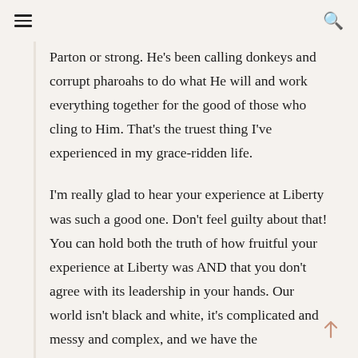≡  🔍
Parton or strong. He's been calling donkeys and corrupt pharoahs to do what He will and work everything together for the good of those who cling to Him. That's the truest thing I've experienced in my grace-ridden life.
I'm really glad to hear your experience at Liberty was such a good one. Don't feel guilty about that! You can hold both the truth of how fruitful your experience at Liberty was AND that you don't agree with its leadership in your hands. Our world isn't black and white, it's complicated and messy and complex, and we have the responsibility